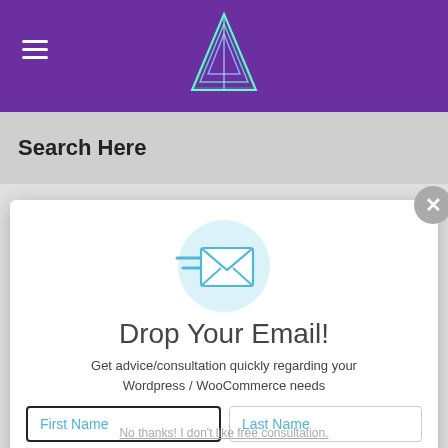Search Here
[Figure (screenshot): Email newsletter popup modal with flying envelope icon, form fields for First Name, Last Name, Email, and Send Enquiry button]
Drop Your Email!
Get advice/consultation quickly regarding your Wordpress / WooCommerce needs
No thanks! I don't like free consultation.